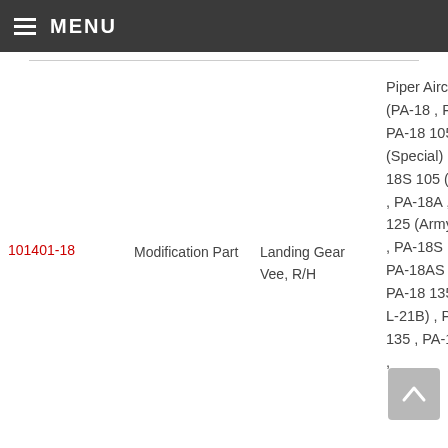MENU
| Part Number | Type | Description | Model |
| --- | --- | --- | --- |
| 101401-18 | Modification Part | Landing Gear Vee, R/H | Piper Aircraft, Inc. (PA-18 , PA-18S , PA-18 105 (Special) , PA-18S 105 (Special) , PA-18A , PA-18 125 (Army L-21A) , PA-18S 125 , PA-18AS 125 , PA-18 135 (Army L-21B) , PA-18A 135 , PA-18S 135 , |